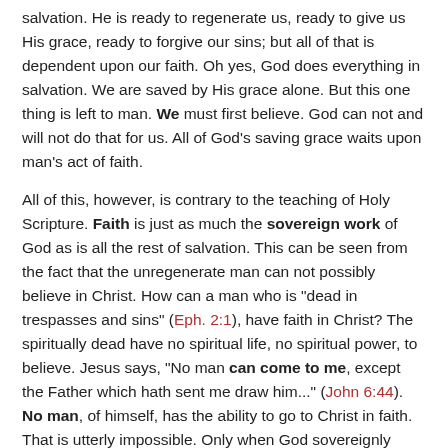salvation. He is ready to regenerate us, ready to give us His grace, ready to forgive our sins; but all of that is dependent upon our faith. Oh yes, God does everything in salvation. We are saved by His grace alone. But this one thing is left to man. We must first believe. God can not and will not do that for us. All of God's saving grace waits upon man's act of faith.
All of this, however, is contrary to the teaching of Holy Scripture. Faith is just as much the sovereign work of God as is all the rest of salvation. This can be seen from the fact that the unregenerate man can not possibly believe in Christ. How can a man who is "dead in trespasses and sins" (Eph. 2:1), have faith in Christ? The spiritually dead have no spiritual life, no spiritual power, to believe. Jesus says, "No man can come to me, except the Father which hath sent me draw him..." (John 6:44). No man, of himself, has the ability to go to Christ in faith. That is utterly impossible. Only when God sovereignly draws us by His irresistible grace do we have true faith that seeks after Christ.
Thus faith is not man's work, but God's work. The Scriptures teach us that God's people "believe, according to the working of his (God's) mighty power."